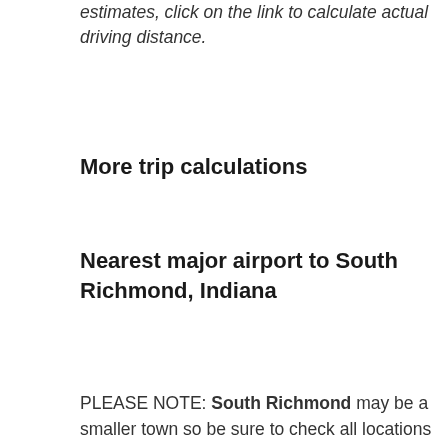estimates, click on the link to calculate actual driving distance.
More trip calculations
Nearest major airport to South Richmond, Indiana
PLEASE NOTE: South Richmond may be a smaller town so be sure to check all locations and airports. Contact us if you have any questions.
The closest major airport to South Richmond, Indiana is